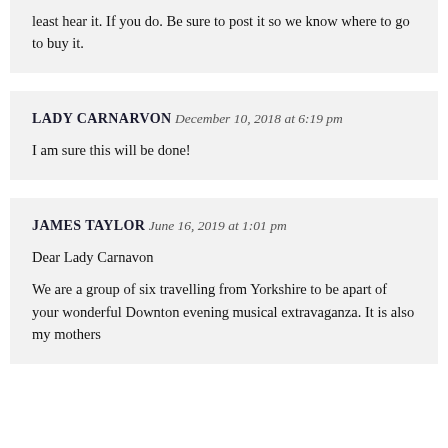least hear it. If you do. Be sure to post it so we know where to go to buy it.
LADY CARNARVON December 10, 2018 at 6:19 pm
I am sure this will be done!
JAMES TAYLOR June 16, 2019 at 1:01 pm
Dear Lady Carnavon
We are a group of six travelling from Yorkshire to be apart of your wonderful Downton evening musical extravaganza. It is also my mothers